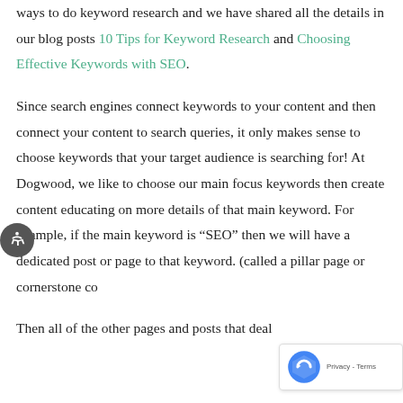ways to do keyword research and we have shared all the details in our blog posts 10 Tips for Keyword Research and Choosing Effective Keywords with SEO. Since search engines connect keywords to your content and then connect your content to search queries, it only makes sense to choose keywords that your target audience is searching for! At Dogwood, we like to choose our main focus keywords then create content educating on more details of that main keyword. For example, if the main keyword is “SEO” then we will have a dedicated post or page to that keyword. (called a pillar page or cornerstone co... Then all of the other pages and posts that deal...